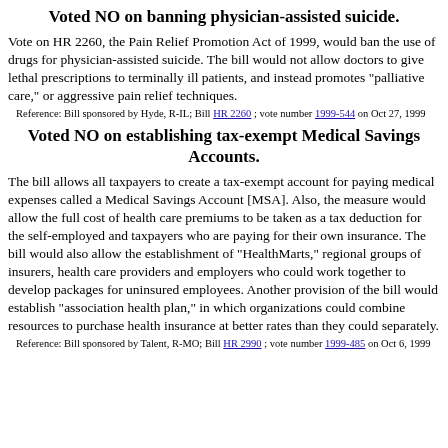Voted NO on banning physician-assisted suicide.
Vote on HR 2260, the Pain Relief Promotion Act of 1999, would ban the use of drugs for physician-assisted suicide. The bill would not allow doctors to give lethal prescriptions to terminally ill patients, and instead promotes "palliative care," or aggressive pain relief techniques.
Reference: Bill sponsored by Hyde, R-IL; Bill HR 2260 ; vote number 1999-544 on Oct 27, 1999
Voted NO on establishing tax-exempt Medical Savings Accounts.
The bill allows all taxpayers to create a tax-exempt account for paying medical expenses called a Medical Savings Account [MSA]. Also, the measure would allow the full cost of health care premiums to be taken as a tax deduction for the self-employed and taxpayers who are paying for their own insurance. The bill would also allow the establishment of "HealthMarts," regional groups of insurers, health care providers and employers who could work together to develop packages for uninsured employees. Another provision of the bill would establish "association health plan," in which organizations could combine resources to purchase health insurance at better rates than they could separately.
Reference: Bill sponsored by Talent, R-MO; Bill HR 2990 ; vote number 1999-485 on Oct 6, 1999